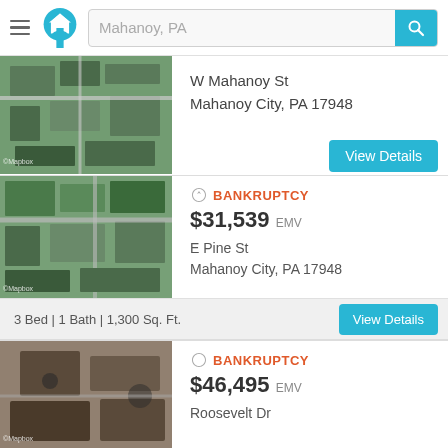Mahanoy, PA
[Figure (screenshot): Aerial/satellite map view of W Mahanoy St, Mahanoy City, PA 17948]
W Mahanoy St
Mahanoy City, PA 17948
[Figure (screenshot): Aerial/satellite map view of E Pine St, Mahanoy City, PA 17948]
BANKRUPTCY
$31,539 EMV
E Pine St
Mahanoy City, PA 17948
3 Bed | 1 Bath | 1,300 Sq. Ft.
[Figure (screenshot): Aerial/satellite map view of Roosevelt Dr listing]
BANKRUPTCY
$46,495 EMV
Roosevelt Dr